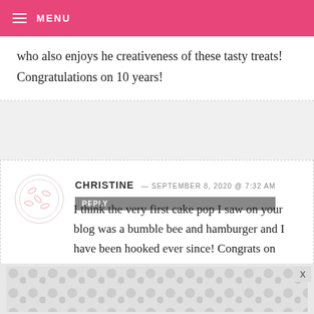MENU
who also enjoys he creativeness of these tasty treats! Congratulations on 10 years!
CHRISTINE — SEPTEMBER 8, 2020 @ 7:32 AM
REPLY
I think the very first cake pop I saw on your blog was a bumble bee and hamburger and I have been hooked ever since! Congrats on your Cake Pop-iversary!